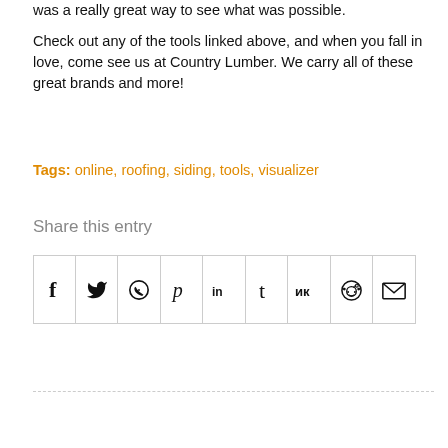was a really great way to see what was possible.
Check out any of the tools linked above, and when you fall in love, come see us at Country Lumber. We carry all of these great brands and more!
Tags: online, roofing, siding, tools, visualizer
Share this entry
[Figure (other): Social share buttons grid: Facebook, Twitter, WhatsApp, Pinterest, LinkedIn, Tumblr, VK, Reddit, Email]